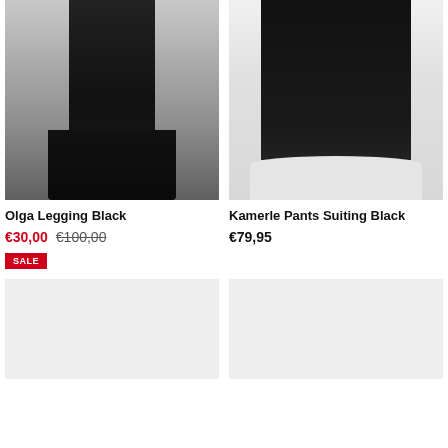[Figure (photo): Woman wearing black leather leggings with black ankle boots, cropped view from waist down]
[Figure (photo): Woman wearing wide-leg black suiting pants with white sneakers, cropped view from waist down]
Olga Legging Black
€30,00  €100,00  SALE
Kamerle Pants Suiting Black
€79,95
[Figure (photo): Placeholder product image (light gray)]
[Figure (photo): Placeholder product image (light gray)]